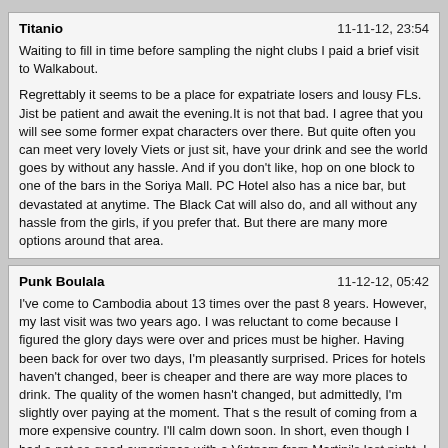Titanio | 11-11-12, 23:54 | Waiting to fill in time before sampling the night clubs I paid a brief visit to Walkabout. Regrettably it seems to be a place for expatriate losers and lousy FLs. Jist be patient and await the evening.It is not that bad. I agree that you will see some former expat characters over there. But quite often you can meet very lovely Viets or just sit, have your drink and see the world goes by without any hassle. And if you don't like, hop on one block to one of the bars in the Soriya Mall. PC Hotel also has a nice bar, but devastated at anytime. The Black Cat will also do, and all without any hassle from the girls, if you prefer that. But there are many more options around that area.
Punk Boulala | 11-12-12, 05:42 | I've come to Cambodia about 13 times over the past 8 years. However, my last visit was two years ago. I was reluctant to come because I figured the glory days were over and prices must be higher. Having been back for over two days, I'm pleasantly surprised. Prices for hotels haven't changed, beer is cheaper and there are way more places to drink. The quality of the women hasn't changed, but admittedly, I'm slightly over paying at the moment. That s the result of coming from a more expensive country. I'll calm down soon. In short, even though I had a not so good experience with a Vietnam from Martini's last night, I can put my full support behind recommending Cambodia as a great place for value.
Scorchin1470 | 11-12-12, 12:47 | somewhere way back is a post saying that the bouganvillier is not gf. bollocks. i e-mailed them way back and have an e-mail reply saying that the hotel is gf.